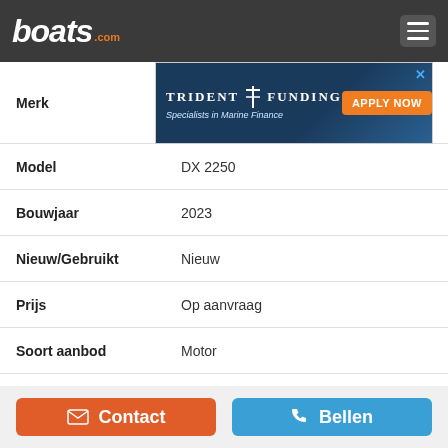boats.com
[Figure (infographic): Trident Funding advertisement banner - Specialists in Marine Finance with Apply Now button and boat image]
| Kenmerk | Waarde |
| --- | --- |
| Merk |  |
| Model | DX 2250 |
| Bouwjaar | 2023 |
| Nieuw/Gebruikt | Nieuw |
| Prijs | Op aanvraag |
| Soort aanbod | Motor |
| Categorie | Open motorboten |
| Lengte | 6.58 m |
| Brandstoftyp | Benzine |
| Rompmateriaal | Glasvezel |
Contact | Bellen